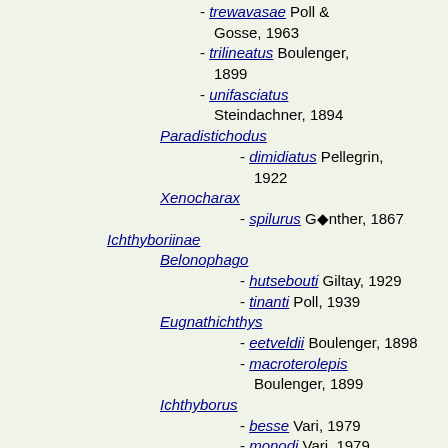- trewavasae Poll & Gosse, 1963
- trilineatus Boulenger, 1899
- unifasciatus Steindachner, 1894
Paradistichodus
- dimidiatus Pellegrin, 1922
Xenocharax
- spilurus Günther, 1867
Ichthyboriinae
Belonophago
- hutsebouti Giltay, 1929
- tinanti Poll, 1939
Eugnathichthys
- eetveldii Boulenger, 1898
- macroterolepis Boulenger, 1899
Ichthyborus
- besse Vari, 1979
- monodi Vari, 1979
- ornatus Vari, 1979
- quadrilineatus Géry, 1977